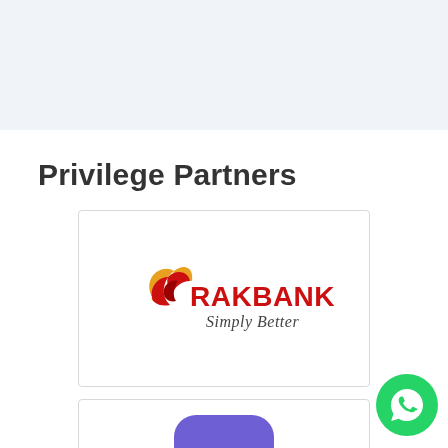Privilege Partners
[Figure (logo): RAKBANK logo with swoosh/bird icon in red and orange, with text 'RAKBANK' in red bold and 'Simply Better' in cursive below]
[Figure (logo): Partial view of a second partner logo showing a purple rounded rectangle shape at the bottom of the page]
[Figure (logo): WhatsApp button icon in green circle at bottom right]